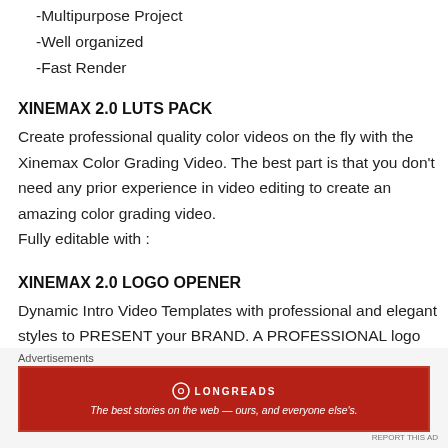-Multipurpose Project
-Well organized
-Fast Render
XINEMAX 2.0 LUTS PACK
Create professional quality color videos on the fly with the Xinemax Color Grading Video. The best part is that you don't need any prior experience in video editing to create an amazing color grading video.
Fully editable with :
XINEMAX 2.0 LOGO OPENER
Dynamic Intro Video Templates with professional and elegant styles to PRESENT your BRAND. A PROFESSIONAL logo presentation means HIGHER
Advertisements
[Figure (other): Longreads advertisement banner — red background with Longreads logo and tagline: The best stories on the web — ours, and everyone else's.]